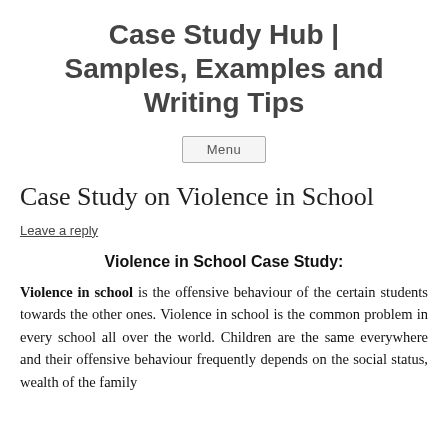Case Study Hub | Samples, Examples and Writing Tips
Menu
Case Study on Violence in School
Leave a reply
Violence in School Case Study:
Violence in school is the offensive behaviour of the certain students towards the other ones. Violence in school is the common problem in every school all over the world. Children are the same everywhere and their offensive behaviour frequently depends on the social status, wealth of the family